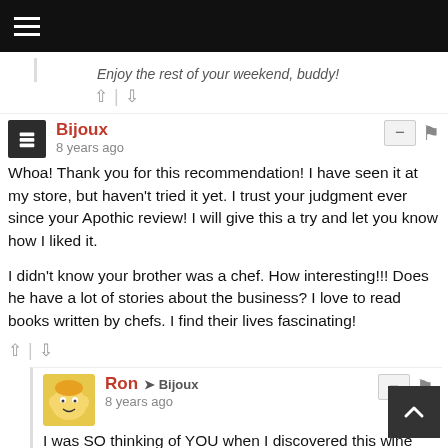Enjoy the rest of your weekend, buddy!
Bijoux
8 years ago
Whoa! Thank you for this recommendation! I have seen it at my store, but haven't tried it yet. I trust your judgment ever since your Apothic review! I will give this a try and let you know how I liked it.

I didn't know your brother was a chef. How interesting!!! Does he have a lot of stories about the business? I love to read books written by chefs. I find their lives fascinating!
Ron → Bijoux
8 years ago
I was SO thinking of YOU when I discovered this wine and knew that I wanted to post a review about it! I have a feeling that you would REALLY enjoy it!